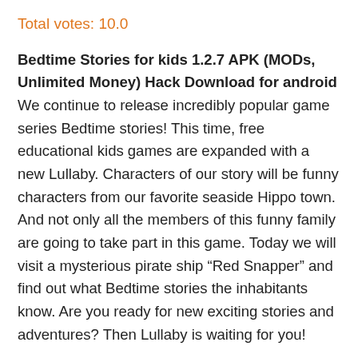Total votes: 10.0
Bedtime Stories for kids 1.2.7 APK (MODs, Unlimited Money) Hack Download for android We continue to release incredibly popular game series Bedtime stories! This time, free educational kids games are expanded with a new Lullaby. Characters of our story will be funny characters from our favorite seaside Hippo town. And not only all the members of this funny family are going to take part in this game. Today we will visit a mysterious pirate ship “Red Snapper” and find out what Bedtime stories the inhabitants know. Are you ready for new exciting stories and adventures? Then Lullaby is waiting for you!
Lullaby is a special type of games for girls and boys. Like any bedtime story, this app is designed to help